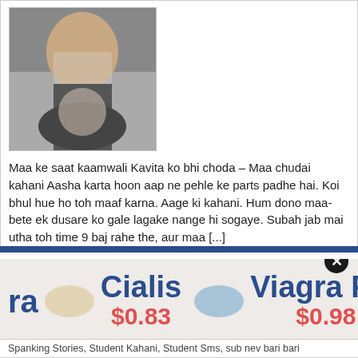[Figure (photo): Photo of two people in a bathroom/mirror selfie setting]
Maa ke saat kaamwali Kavita ko bhi choda – Maa chudai kahani Aasha karta hoon aap ne pehle ke parts padhe hai. Koi bhul hue ho toh maaf karna. Aage ki kahani. Hum dono maa-bete ek dusare ko gale lagake nange hi sogaye. Subah jab mai utha toh time 9 baj rahe the, aur maa [...]
Tags: bhi, choda, chudai, desi mamme, gaon ka sex, indian aunty sex story, indian sex stories app, Kaamwali, kahani, kannada sex storey, Kavita, lanja kathalu in telugu, Maa, nandini sex, odia sex story in odia, odiya sex, Office/Teacher, saat, shraddha kapoor sex story, telugusexstories.desi
[Figure (screenshot): Advertisement banner showing pills: Cialis $0.83, Viagra Pro $0.98 with a close button]
Spanking Stories, Student Kahani, Student Sms, sub nev bari bari